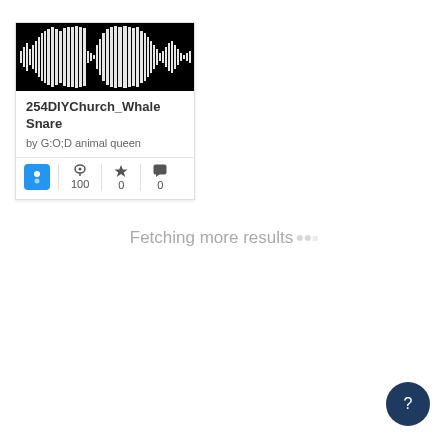[Figure (screenshot): Audio waveform display card showing '254DIYChurch_Whale Snare' by G:O;D animal queen with stats: 100 plays, 0 favorites, 0 comments, and a blue speaker icon button. Also shows 'Fetching more results' loading text and a dark blue help button in the bottom right corner.]